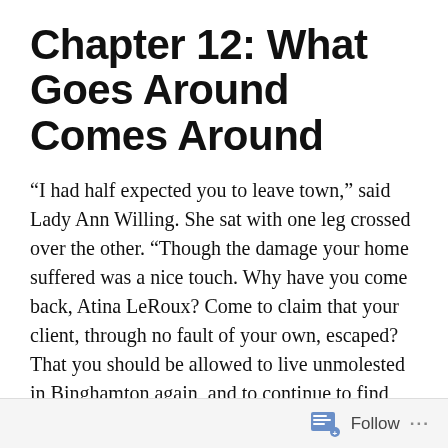Chapter 12: What Goes Around Comes Around
“I had half expected you to leave town,” said Lady Ann Willing. She sat with one leg crossed over the other. “Though the damage your home suffered was a nice touch. Why have you come back, Atina LeRoux? Come to claim that your client, through no fault of your own, escaped? That you should be allowed to live unmolested in Binghamton again, and to continue to find legal work here? That you were simply suckered in, and are innocent of all of
Follow ...